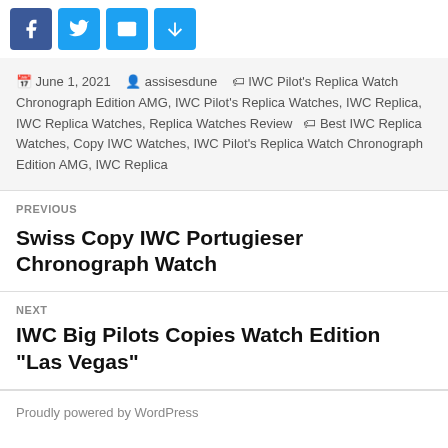[Figure (other): Social sharing icons: Facebook, Twitter, Email, Share buttons in blue]
June 1, 2021   assisesdune   IWC Pilot’s Replica Watch Chronograph Edition AMG, IWC Pilot’s Replica Watches, IWC Replica, IWC Replica Watches, Replica Watches Review   Best IWC Replica Watches, Copy IWC Watches, IWC Pilot’s Replica Watch Chronograph Edition AMG, IWC Replica
PREVIOUS
Swiss Copy IWC Portugieser Chronograph Watch
NEXT
IWC Big Pilots Copies Watch Edition “Las Vegas”
Proudly powered by WordPress